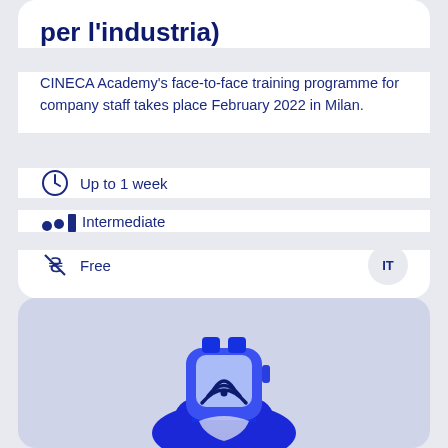per l'industria)
CINECA Academy's face-to-face training programme for company staff takes place February 2022 in Milan.
Up to 1 week
Intermediate
Free
[Figure (illustration): Blue smartwatch illustration with WiFi/NFC signal icon on the watch face, showing a hand wearing the device]